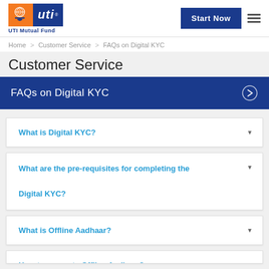UTI Mutual Fund
Home > Customer Service > FAQs on Digital KYC
Customer Service
FAQs on Digital KYC
What is Digital KYC?
What are the pre-requisites for completing the Digital KYC?
What is Offline Aadhaar?
How to generate Offline Aadhaar?